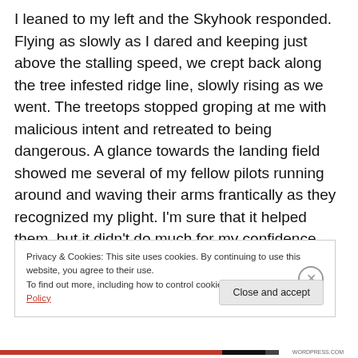I leaned to my left and the Skyhook responded. Flying as slowly as I dared and keeping just above the stalling speed, we crept back along the tree infested ridge line, slowly rising as we went. The treetops stopped groping at me with malicious intent and retreated to being dangerous. A glance towards the landing field showed me several of my fellow pilots running around and waving their arms frantically as they recognized my plight. I'm sure that it helped them, but it didn't do much for my confidence.
Privacy & Cookies: This site uses cookies. By continuing to use this website, you agree to their use.
To find out more, including how to control cookies, see here: Cookie Policy